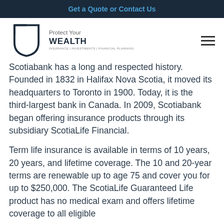Get a Quote or Contact Us
[Figure (logo): Protect Your WEALTH logo with shield icon and tagline INSURANCE | INVESTMENTS | FINANCIAL PLANNING]
Scotiabank has a long and respected history. Founded in 1832 in Halifax Nova Scotia, it moved its headquarters to Toronto in 1900. Today, it is the third-largest bank in Canada. In 2009, Scotiabank began offering insurance products through its subsidiary ScotiaLife Financial.
Term life insurance is available in terms of 10 years, 20 years, and lifetime coverage. The 10 and 20-year terms are renewable up to age 75 and cover you for up to $250,000. The ScotiaLife Guaranteed Life product has no medical exam and offers lifetime coverage to all eligible...